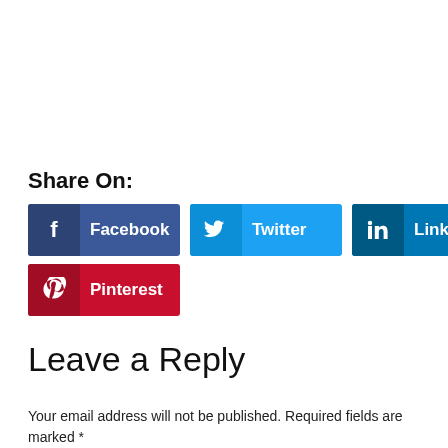Share On:
[Figure (infographic): Social share buttons: Facebook (dark blue), Twitter (light blue), LinkedIn (dark teal blue), Pinterest (red)]
Leave a Reply
Your email address will not be published. Required fields are marked *